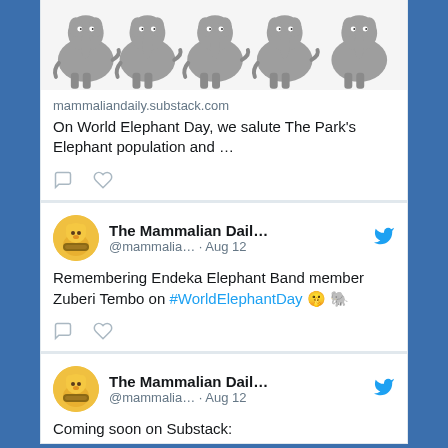[Figure (screenshot): Twitter/social media feed screenshot showing three tweet cards from The Mammalian Daily account, with elephant illustration image, link preview, and tweet text about World Elephant Day]
mammaliandaily.substack.com
On World Elephant Day, we salute The Park's Elephant population and …
The Mammalian Dail... @mammalia… · Aug 12
Remembering Endeka Elephant Band member Zuberi Tembo on #WorldElephantDay 🤫 🐘
The Mammalian Dail... @mammalia… · Aug 12
Coming soon on Substack: